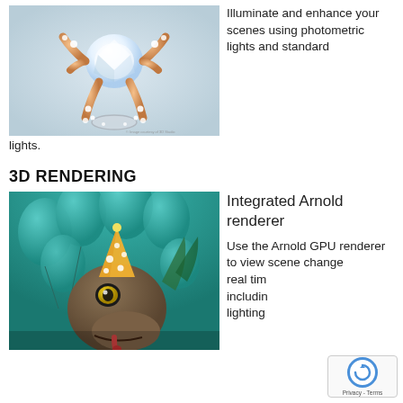[Figure (photo): A highly detailed 3D rendered image of a diamond jewelry piece (ring or brooch) with rose gold and silver metal, set with many diamonds and gemstones, on a light blue/grey background.]
Illuminate and enhance your scenes using photometric lights and standard lights.
3D RENDERING
[Figure (photo): A 3D rendered image of a velociraptor dinosaur wearing a party hat, surrounded by teal/green balloons, with its tongue out, looking at the camera.]
Integrated Arnold renderer
Use the Arnold GPU renderer to view scene changes in real time, including lighting